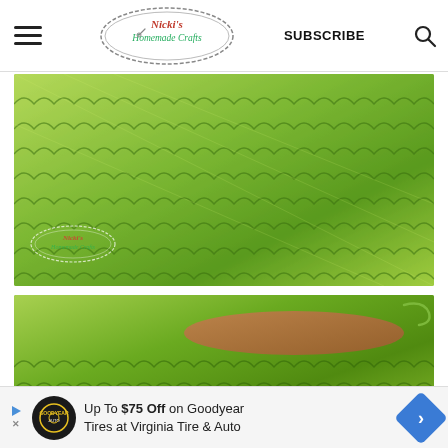Nicki's Homemade Crafts — SUBSCRIBE
[Figure (photo): Close-up photo of green crochet fabric showing a textured stitch pattern, with the Nicki's Homemade Crafts watermark logo in the lower left corner.]
[Figure (photo): Close-up photo of a hand holding green crochet fabric, showing the edge and texture of the stitches.]
Up To $75 Off on Goodyear Tires at Virginia Tire & Auto